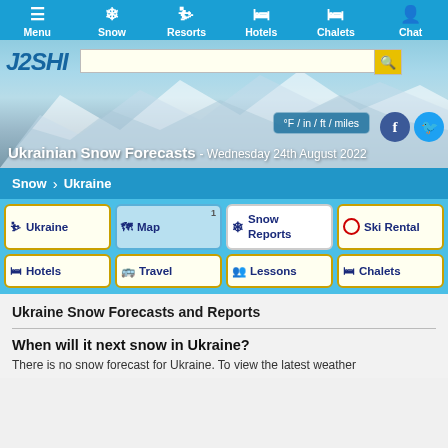Menu | Snow | Resorts | Hotels | Chalets | Chat
[Figure (screenshot): Hero banner with snowy mountain background, J2SKI logo, search bar, unit toggle button, and social media icons]
Ukrainian Snow Forecasts - Wednesday 24th August 2022
Snow > Ukraine
Ukraine | Map | Snow Reports | Ski Rental
Hotels | Travel | Lessons | Chalets
Ukraine Snow Forecasts and Reports
When will it next snow in Ukraine?
There is no snow forecast for Ukraine. To view the latest weather